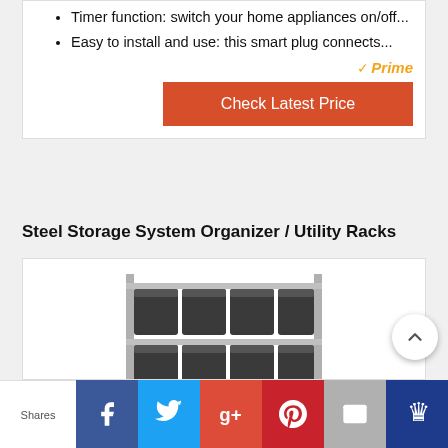Timer function: switch your home appliances on/off...
Easy to install and use: this smart plug connects...
[Figure (other): Amazon Prime logo with orange checkmark and 'Prime' in italic text]
[Figure (other): Orange 'Check Latest Price' button]
Steel Storage System Organizer / Utility Racks
[Figure (photo): Steel storage shelving unit with multiple rows of dark grey/black plastic storage bins on grey metal shelves]
[Figure (other): Social share bar with Facebook, Twitter, Google+, Pinterest, Email, and Bloglovin buttons. Left label reads 'Shares'.]